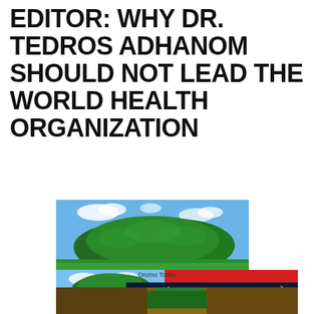EDITOR: WHY DR. TEDROS ADHANOM SHOULD NOT LEAD THE WORLD HEALTH ORGANIZATION
[Figure (photo): Composite image: large green tree on open field under blue sky (main), smaller version of same tree bottom-left, red panel top-right, dark navy banner with 'OromianEconomist' text and moon image, red bottom strip, caption 'Oromo Today']
[Figure (photo): Partial bottom photo showing a person, cut off at bottom of page]